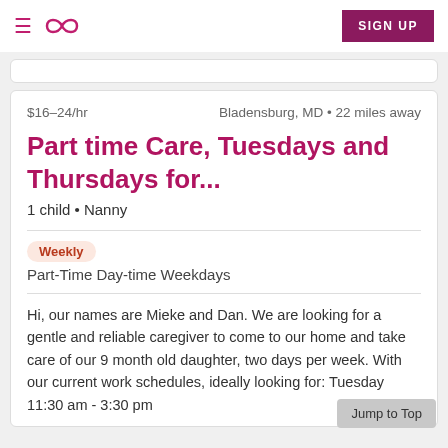≡ ∞ SIGN UP
$16–24/hr   Bladensburg, MD • 22 miles away
Part time Care, Tuesdays and Thursdays for...
1 child • Nanny
Weekly
Part-Time Day-time Weekdays
Hi, our names are Mieke and Dan. We are looking for a gentle and reliable caregiver to come to our home and take care of our 9 month old daughter, two days per week. With our current work schedules, ideally looking for: Tuesday 11:30 am - 3:30 pm